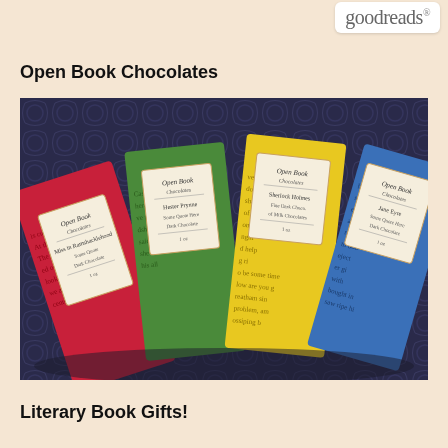goodreads
Open Book Chocolates
[Figure (photo): Four chocolate bars from Open Book Chocolates arranged in a fan on a decorative blue and white patterned background. The bars have colorful wrappers — red, green, yellow, and blue — each printed with literary text and featuring a label with the Open Book Chocolates logo and a character name.]
Literary Book Gifts!